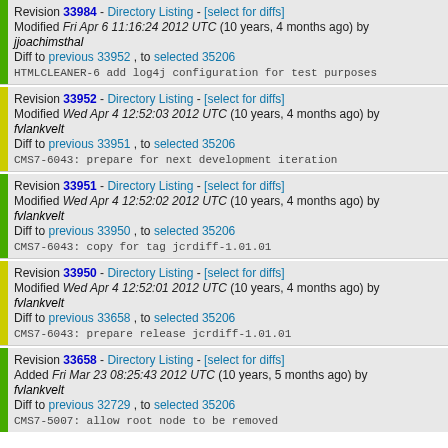Revision 33984 - Directory Listing - [select for diffs]
Modified Fri Apr 6 11:16:24 2012 UTC (10 years, 4 months ago) by jjoachimsthal
Diff to previous 33952 , to selected 35206
HTMLCLEANER-6 add log4j configuration for test purposes
Revision 33952 - Directory Listing - [select for diffs]
Modified Wed Apr 4 12:52:03 2012 UTC (10 years, 4 months ago) by fvlankvelt
Diff to previous 33951 , to selected 35206
CMS7-6043: prepare for next development iteration
Revision 33951 - Directory Listing - [select for diffs]
Modified Wed Apr 4 12:52:02 2012 UTC (10 years, 4 months ago) by fvlankvelt
Diff to previous 33950 , to selected 35206
CMS7-6043:  copy for tag jcrdiff-1.01.01
Revision 33950 - Directory Listing - [select for diffs]
Modified Wed Apr 4 12:52:01 2012 UTC (10 years, 4 months ago) by fvlankvelt
Diff to previous 33658 , to selected 35206
CMS7-6043: prepare release jcrdiff-1.01.01
Revision 33658 - Directory Listing - [select for diffs]
Added Fri Mar 23 08:25:43 2012 UTC (10 years, 5 months ago) by fvlankvelt
Diff to previous 32729 , to selected 35206
CMS7-5007: allow root node to be removed